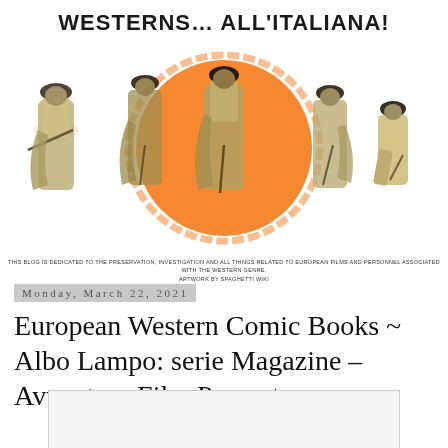[Figure (illustration): Blog header banner for 'Westerns... All'Italiana!' showing four cowboy figures in long coats with guns, one centered in front of an orange sun circle, title text above in bold black uppercase, tagline text below]
THIS BLOG IS DEDICATED TO THE PRESERVATION, INVESTIGATION AND ALL THINGS RELATED TO EUROPEAN FILMS AND PERSONNEL ASSOCIATED WITH THE WESTERN GENRE. ARTWORK BY SPAGHETTI WIKI
Monday, March 22, 2021
European Western Comic Books ~ Albo Lampo: serie Magazine – Avventura Film Presenta
[Figure (photo): Partially visible image placeholder at bottom of page]